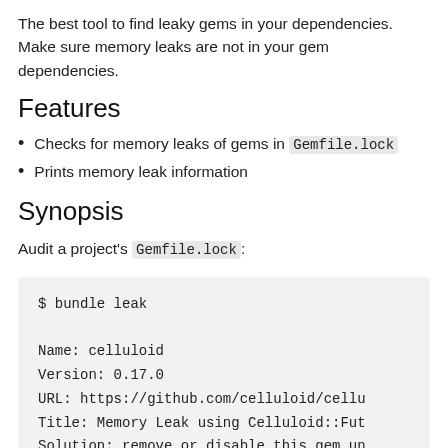The best tool to find leaky gems in your dependencies. Make sure memory leaks are not in your gem dependencies.
Features
Checks for memory leaks of gems in Gemfile.lock
Prints memory leak information
Synopsis
Audit a project's Gemfile.lock:
$ bundle leak

Name: celluloid
Version: 0.17.0
URL: https://github.com/celluloid/cellu
Title: Memory Leak using Celluloid::Fut
Solution: remove or disable this gem un